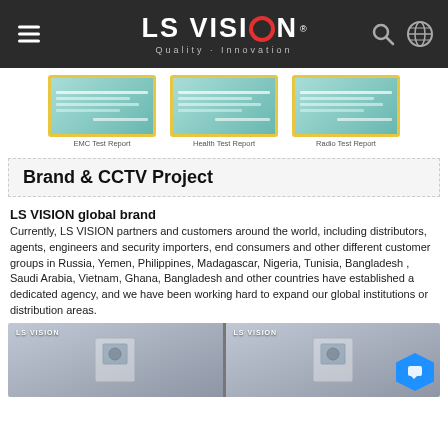LS VISION® Quality · Innovation
[Figure (photo): Three test report certificates shown side by side: EMC Test Report, Health Test Report, Radio Test Report with teal/gold bordered frames]
EMC Test Report    Health Test Report    Radio Test Report
Brand & CCTV Project
LS VISION global brand
Currently, LS VISION partners and customers around the world, including distributors, agents, engineers and security importers, end consumers and other different customer groups in Russia, Yemen, Philippines, Madagascar, Nigeria, Tunisia, Bangladesh , Saudi Arabia, Vietnam, Ghana, Bangladesh and other countries have established a dedicated agency, and we have been working hard to expand our global institutions or distribution areas.
[Figure (photo): Two outdoor billboard/banner photos showing LS VISION branding on street poles]